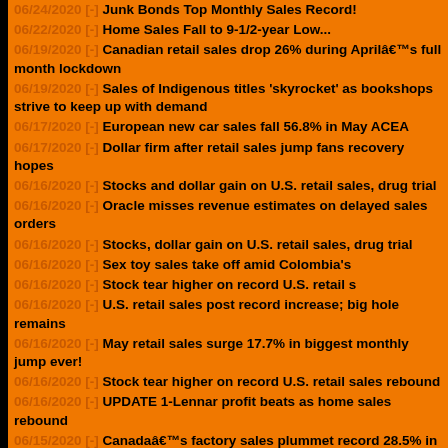06/24/2020 [-] Junk Bonds Top Monthly Sales Record!
06/22/2020 [-] Home Sales Fall to 9-1/2-year Low...
06/19/2020 [-] Canadian retail sales drop 26% during Aprilâ€™s full month lockdown
06/19/2020 [-] Sales of Indigenous titles 'skyrocket' as bookshops strive to keep up with demand
06/17/2020 [-] European new car sales fall 56.8% in May ACEA
06/17/2020 [-] Dollar firm after retail sales jump fans recovery hopes
06/16/2020 [-] Stocks and dollar gain on U.S. retail sales, drug trial
06/16/2020 [-] Oracle misses revenue estimates on delayed sales orders
06/16/2020 [-] Stocks, dollar gain on U.S. retail sales, drug trial
06/16/2020 [-] Sex toy sales take off amid Colombia's
06/16/2020 [-] Stock tear higher on record U.S. retail s
06/16/2020 [-] U.S. retail sales post record increase; big hole remains
06/16/2020 [-] May retail sales surge 17.7% in biggest monthly jump ever!
06/16/2020 [-] Stock tear higher on record U.S. retail sales rebound
06/16/2020 [-] UPDATE 1-Lennar profit beats as home sales rebound
06/15/2020 [-] Canadaâ€™s factory sales plummet record 28.5% in April
06/15/2020 [-] Britain's Travis Perkins says sales are recovering
06/15/2020 [-] Indonesia auto sales plunge 96% in May
06/15/2020 [-] Travis Perkins says sales are recovering
06/15/2020 [-] H&M's March-May sales tumble by less than expected 50%
06/11/2020 [-] When COVID-19 struck, this free-range egg farm